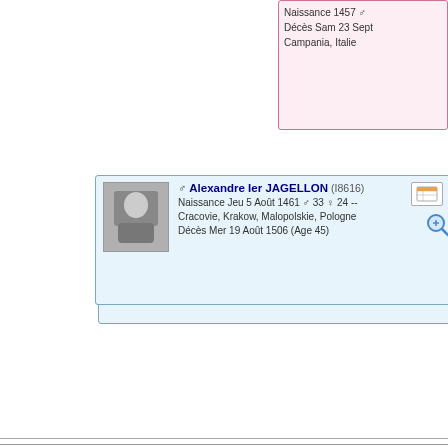[Figure (other): Genealogy tree node: 1490 (F3424) with Naissance 1457, Décès Sam 23 Sept, Campania, Italie — pink person box top right]
[Figure (organizational-chart): Person card: Alexandre Ier JAGELLON (I8616), Naissance Jeu 5 Août 1461, 33 males 24 females, Cracovie, Krakow, Malopolskie, Pologne, Décès Mer 19 Août 1506 (Age 45), with photo and icons]
Gaston II FOIX (de) + Catherine FOIX (de)
Arrière-Arrière-Grand-Père
[Figure (organizational-chart): Person card: Gaston II FOIX (de) (I7254), Décès vers 1500, with icons. Generation number 30.]
[Figure (other): Genealogy tree node 60: Jean F..., Naissance 1... — blue person box right]
[Figure (other): Genealogy tree node 61: Margar... — pink person box bottom right]
(F3239)